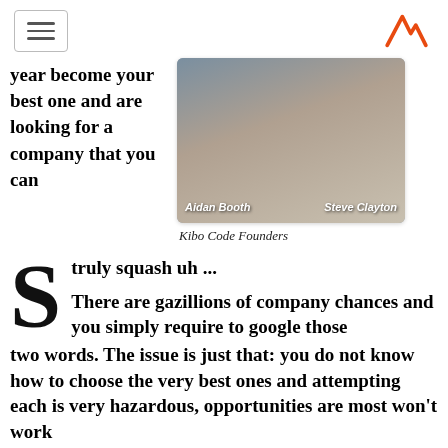[hamburger menu icon] [A logo]
year become your best one and are looking for a company that you can
[Figure (photo): Photo of two men seated on a couch, labeled 'Aidan Booth' and 'Steve Clayton', Kibo Code founders]
Kibo Code Founders
S truly squash uh ...
There are gazillions of company chances and you simply require to google those two words. The issue is just that: you do not know how to choose the very best ones and attempting each is very hazardous, opportunities are most won't work